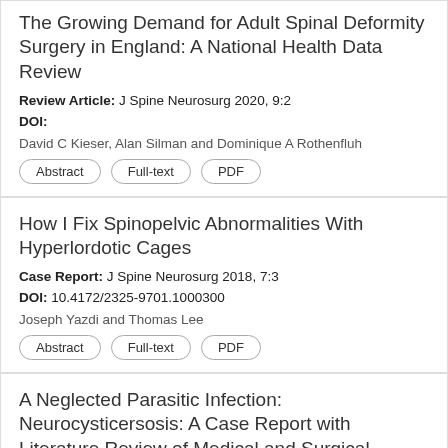The Growing Demand for Adult Spinal Deformity Surgery in England: A National Health Data Review
Review Article: J Spine Neurosurg 2020, 9:2
DOI:
David C Kieser, Alan Silman and Dominique A Rothenfluh
How I Fix Spinopelvic Abnormalities With Hyperlordotic Cages
Case Report: J Spine Neurosurg 2018, 7:3
DOI: 10.4172/2325-9701.1000300
Joseph Yazdi and Thomas Lee
A Neglected Parasitic Infection: Neurocysticersosis: A Case Report with Literature Review of Medical and Surgical Management
Case Report: J Spine Neurosurg 2017, 6:1
DOI: